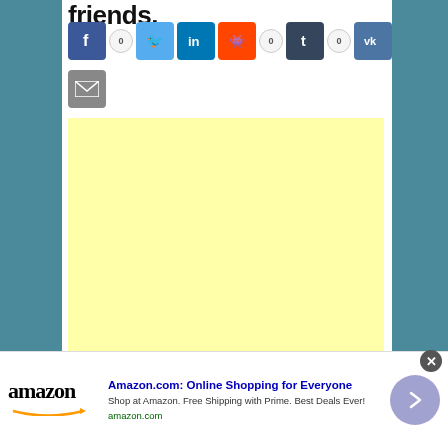friends.
[Figure (screenshot): Social media share buttons: Facebook, Twitter, LinkedIn, Reddit (0), Tumblr (0), VK icons in a row, followed by an email icon below]
[Figure (other): Yellow/light-yellow advertisement placeholder block]
[Figure (screenshot): Amazon advertisement banner: Amazon logo, title 'Amazon.com: Online Shopping for Everyone', subtitle 'Shop at Amazon. Free Shipping with Prime. Best Deals Ever!', url 'amazon.com', close button (x), navigation arrow button]